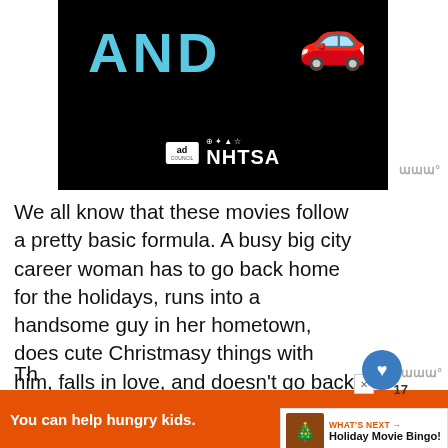[Figure (screenshot): Black background image showing 'AND' text in teal/cyan color with a red car emoji to the right, and logos for Ad Council and NHTSA at the bottom]
We all know that these movies follow a pretty basic formula. A busy big city career woman has to go back home for the holidays, runs into a handsome guy in her hometown, does cute Christmasy things with him, falls in love, and doesn't go back to the city. Sometimes amnesia is involved, sometimes the guy is royalty, and sometimes a local [business] is failing.
[Figure (screenshot): What's Next panel: Holiday Movie Bingo!]
[Figure (screenshot): Advertisement bar: 'You can help hungry kids.' with No Kid Hungry logo and LEARN HOW button on orange background]